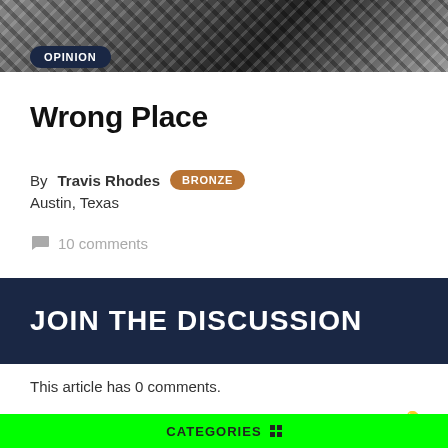[Figure (photo): Black and white abstract/texture hero image at the top of the article page]
OPINION
Wrong Place
By Travis Rhodes BRONZE
Austin, Texas
💬 10 comments
JOIN THE DISCUSSION
This article has 0 comments.
Login 🔑
You can now tag other users by using @
CATEGORIES